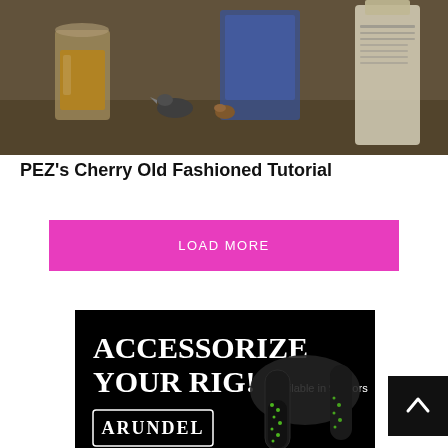[Figure (photo): Photo of a glass with whiskey/cocktail, a small bird or insect, and a bottle with a label on a countertop or bar surface]
PEZ's Cherry Old Fashioned Tutorial
LOAD MORE
[Figure (illustration): Advertisement for Arundel Art Gecko Bar Tape on black background. Text reads: ACCESSORIZE YOUR RIG! Available in 9 colors. ARUNDEL Art Gecko Bar Tape. 1.800.436.9503 arundelbike.com. Image shows bicycle handlebars with green gecko-patterned bar tape.]